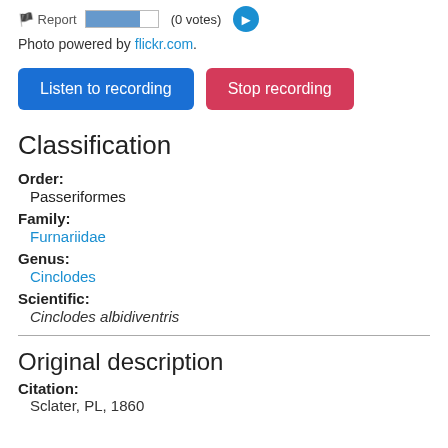Report (0 votes)
Photo powered by flickr.com.
Listen to recording  Stop recording
Classification
Order:
Passeriformes
Family:
Furnariidae
Genus:
Cinclodes
Scientific:
Cinclodes albidiventris
Original description
Citation:
Sclater, PL, 1860